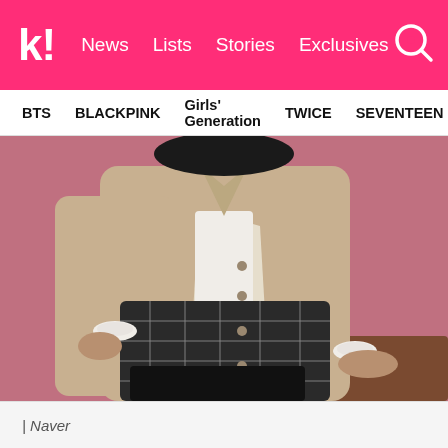k! News  Lists  Stories  Exclusives
BTS  BLACKPINK  Girls' Generation  TWICE  SEVENTEEN
[Figure (photo): Person sitting on a bench wearing a beige/khaki long coat over a white blouse with ruffled cuffs and a black and white plaid skirt, against a pink background]
| Naver